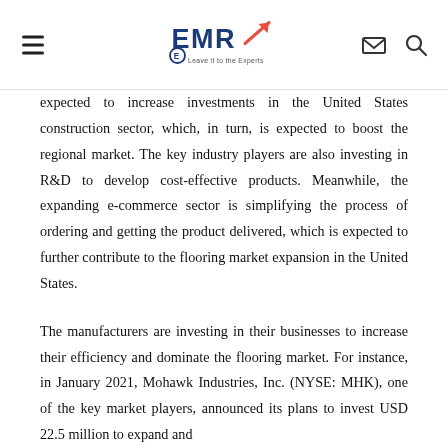EMR — Leave it to the Experts logo with hamburger menu, mail and search icons
expected to increase investments in the United States construction sector, which, in turn, is expected to boost the regional market. The key industry players are also investing in R&D to develop cost-effective products. Meanwhile, the expanding e-commerce sector is simplifying the process of ordering and getting the product delivered, which is expected to further contribute to the flooring market expansion in the United States.
The manufacturers are investing in their businesses to increase their efficiency and dominate the flooring market. For instance, in January 2021, Mohawk Industries, Inc. (NYSE: MHK), one of the key market players, announced its plans to invest USD 22.5 million to expand and